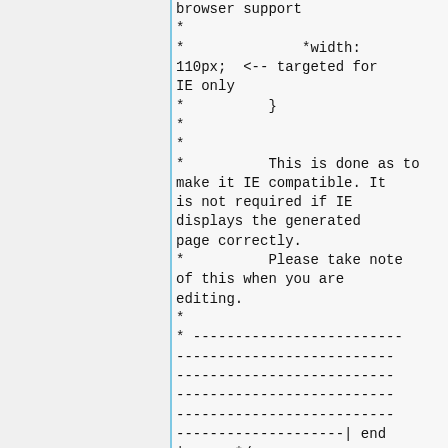browser support
*
*                *width: 110px;  <-- targeted for IE only
*          }
*
*
*          This is done as to make it IE compatible. It is not required if IE displays the generated page correctly.
*          Please take note of this when you are editing.
*
* ----------------------------------------------------------------------------------------------------------------------------------------------------------| end
|----- */
/*